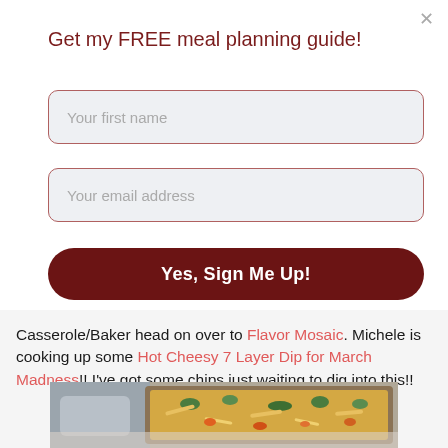Get my FREE meal planning guide!
Your first name
Your email address
Yes, Sign Me Up!
Casserole/Baker head on over to Flavor Mosaic. Michele is cooking up some Hot Cheesy 7 Layer Dip for March Madness!! I've got some chips just waiting to dig into this!!
[Figure (photo): A baking dish filled with a colorful layered dip topped with shredded cheese, green peppers, and various toppings, with serving utensils visible.]